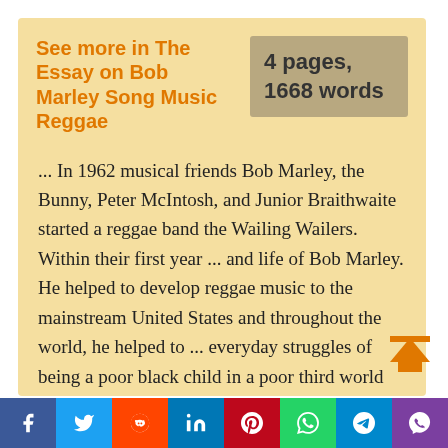See more in The Essay on Bob Marley Song Music Reggae
4 pages, 1668 words
... In 1962 musical friends Bob Marley, the Bunny, Peter McIntosh, and Junior Braithwaite started a reggae band the Wailing Wailers. Within their first year ... and life of Bob Marley. He helped to develop reggae music to the mainstream United States and throughout the world, he helped to ... everyday struggles of being a poor black child in a poor third world country. Marley dropped out of school at the age ...
Facebook Twitter Reddit LinkedIn Pinterest WhatsApp Telegram Viber